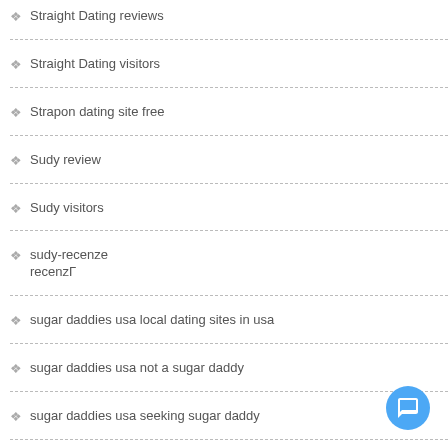Straight Dating reviews
Straight Dating visitors
Strapon dating site free
Sudy review
Sudy visitors
sudy-recenze recenzГ
sugar daddies usa local dating sites in usa
sugar daddies usa not a sugar daddy
sugar daddies usa seeking sugar daddy
sugar daddies usa sugar babes videos
sugar daddies usa sugar babies and sugar daddies